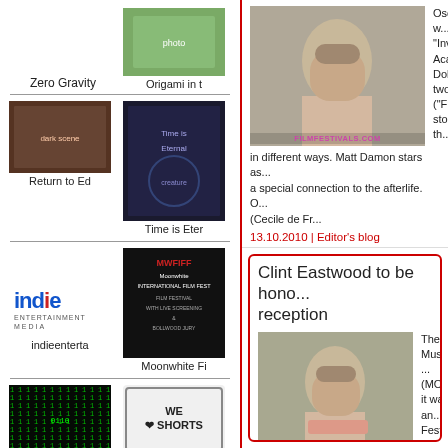Zero Gravity
[Figure (photo): Movie thumbnail for Origami in t]
Origami in t
[Figure (photo): Movie thumbnail for Return to Ed]
Return to Ed
[Figure (photo): Movie thumbnail for Time is Eter]
Time is Eter
[Figure (logo): Indie Entertainment Media logo]
indieenterta
[Figure (photo): Moonwhite International Film Fest poster]
Moonwhite Fi
[Figure (photo): Series Strea - green digital background]
Series Strea
[Figure (logo): We Love Shorts logo]
Shorts Unlim
[Figure (photo): Abstract logo bottom left]
[Figure (logo): Cittador logo yellow]
[Figure (photo): Film festivals person portrait photo]
Oscar® w... "Invictus" ... Academy... Dollar Ba... two time ... ("Frost/Ni... story of th...
in different ways. Matt Damon stars as... a special connection to the afterlife. O... (Cecile de Fr...
13.10.2010 | Editor's blog
Clint Eastwood to be hono... reception
[Figure (photo): Film festivals person portrait photo for Clint Eastwood article]
The Mu... Museum ... (MOTIFF... it was an... Festival o... theaters i... Peltz The...
from around the globe that shine a ligh... present. Intertwined with classic films...
22.09.2010 | Editor's blog